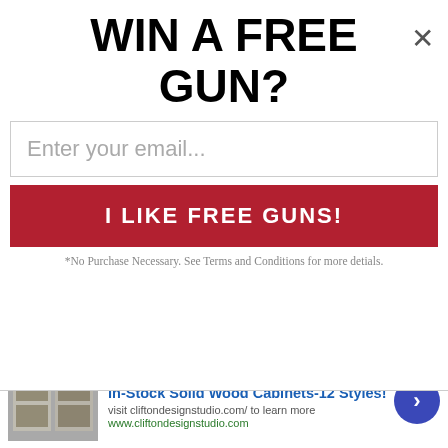WIN A FREE GUN?
Enter your email...
I LIKE FREE GUNS!
*No Purchase Necessary. See Terms and Conditions for more detials.
energy and climate-change, and possibly monitor interactions on the issues among the other agencies and departments.
Among the many names being bandied about for a "climate czar" are two heavy hitters: California Gov. Arnold Schwarzenegger, a Republican who actively supports cutting greenhouse gas emissions and promotes renewable energy projects in his state; and former vice president and Nobel Peace Prize winner Al Gore, whose "An Inconvenient Truth" has
[Figure (screenshot): Bottom advertisement bar: In-Stock Solid Wood Cabinets-12 Styles! with image of cabinets, URL cliftondesignstudio.com, navigation arrow button]